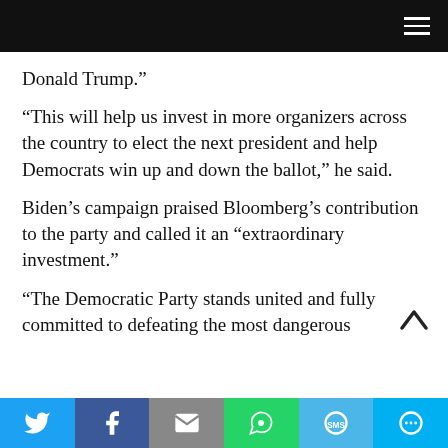[Navigation bar with hamburger menu]
Donald Trump.”
“This will help us invest in more organizers across the country to elect the next president and help Democrats win up and down the ballot,” he said.
Biden’s campaign praised Bloomberg’s contribution to the party and called it an “extraordinary investment.”
“The Democratic Party stands united and fully committed to defeating the most dangerous
[Figure (other): Social media share bar with Twitter, Facebook, Email, WhatsApp, SMS, and More buttons]